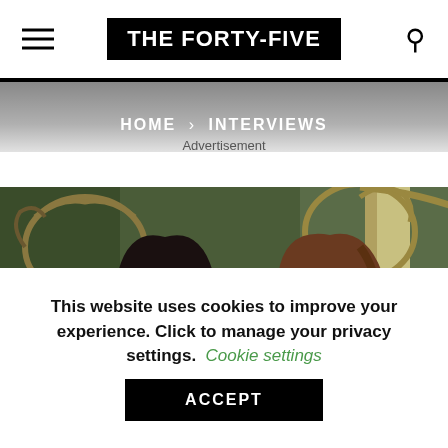THE FORTY-FIVE
HOME › INTERVIEWS
Advertisement
[Figure (photo): Two women posed against an ornate mirror and greenish wall background. Left woman has dark hair and looks forward; right woman has lighter brown hair and looks down.]
This website uses cookies to improve your experience. Click to manage your privacy settings. Cookie settings
ACCEPT